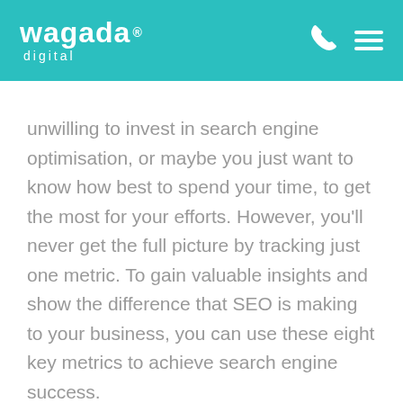[Figure (logo): Wagada Digital logo in white on teal header, with phone icon and hamburger menu]
unwilling to invest in search engine optimisation, or maybe you just want to know how best to spend your time, to get the most for your efforts. However, you'll never get the full picture by tracking just one metric. To gain valuable insights and show the difference that SEO is making to your business, you can use these eight key metrics to achieve search engine success.